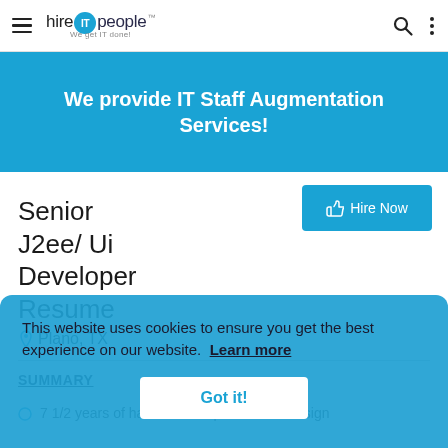hire IT people — We get IT done!
We provide IT Staff Augmentation Services!
Senior J2ee/ Ui Developer Resume
Plano, TX
SUMMARY
7 1/2 years of hands - on experience in Design
This website uses cookies to ensure you get the best experience on our website. Learn more
Got it!